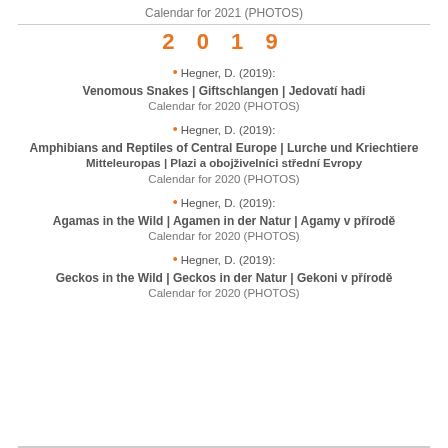Calendar for 2021 (PHOTOS)
2019
Hegner, D. (2019): Venomous Snakes | Giftschlangen | Jedovatí hadi Calendar for 2020 (PHOTOS)
Hegner, D. (2019): Amphibians and Reptiles of Central Europe | Lurche und Kriechtiere Mitteleuropas | Plazi a obojživelníci střední Evropy Calendar for 2020 (PHOTOS)
Hegner, D. (2019): Agamas in the Wild | Agamen in der Natur | Agamy v přírodě Calendar for 2020 (PHOTOS)
Hegner, D. (2019): Geckos in the Wild | Geckos in der Natur | Gekoni v přírodě Calendar for 2020 (PHOTOS)